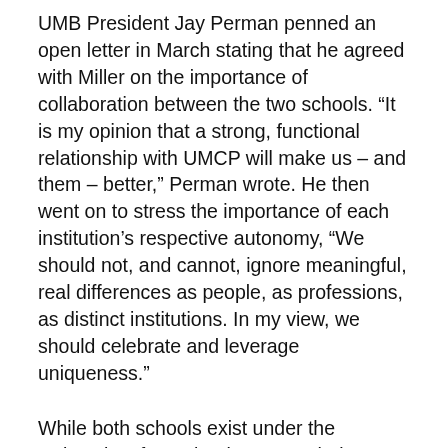UMB President Jay Perman penned an open letter in March stating that he agreed with Miller on the importance of collaboration between the two schools. “It is my opinion that a strong, functional relationship with UMCP will make us – and them – better,” Perman wrote. He then went on to stress the importance of each institution’s respective autonomy, “We should not, and cannot, ignore meaningful, real differences as people, as professions, as distinct institutions. In my view, we should celebrate and leverage uniqueness.”
While both schools exist under the University of Maryland System, their campuses serve distinct populations. Less than 15 percent of degrees awarded at UMB are towards undergraduate